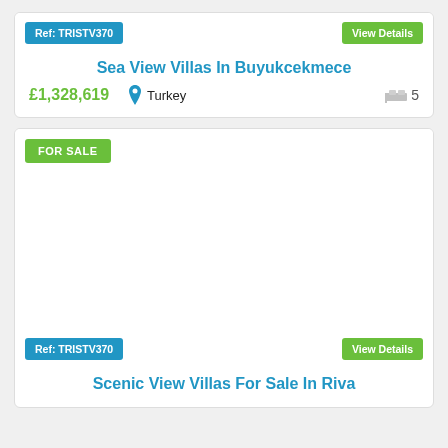Ref: TRISTV418
View Details
Sea View Villas In Buyukcekmece
£1,328,619
Turkey
5
FOR SALE
Ref: TRISTV370
View Details
Scenic View Villas For Sale In Riva